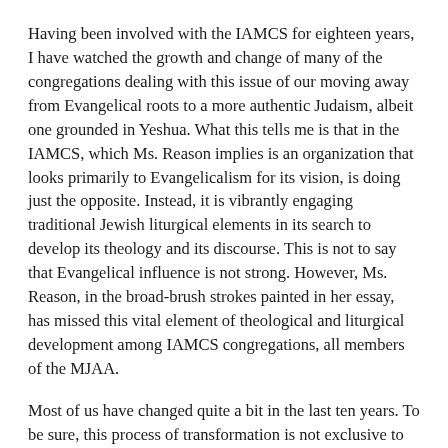Having been involved with the IAMCS for eighteen years, I have watched the growth and change of many of the congregations dealing with this issue of our moving away from Evangelical roots to a more authentic Judaism, albeit one grounded in Yeshua. What this tells me is that in the IAMCS, which Ms. Reason implies is an organization that looks primarily to Evangelicalism for its vision, is doing just the opposite. Instead, it is vibrantly engaging traditional Jewish liturgical elements in its search to develop its theology and its discourse. This is not to say that Evangelical influence is not strong. However, Ms. Reason, in the broad-brush strokes painted in her essay, has missed this vital element of theological and liturgical development among IAMCS congregations, all members of the MJAA.
Most of us have changed quite a bit in the last ten years. To be sure, this process of transformation is not exclusive to either of the subject organizations. Ms. Reason, however, has chosen two models that may possibly represent the greater extremes of the movement and thus, by framing the debate as a choice between either extreme, has overlooked the vast majority of congregations that lie somewhere in